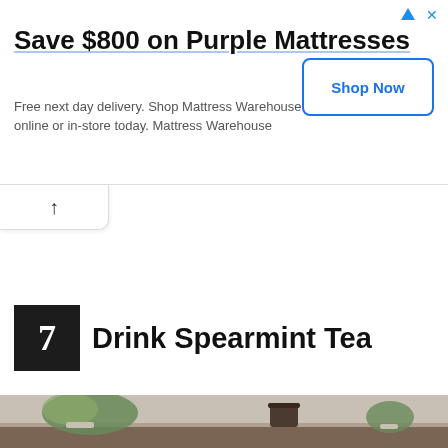[Figure (screenshot): Advertisement banner: 'Save $800 on Purple Mattresses' with 'Shop Now' button. Text: 'Free next day delivery. Shop Mattress Warehouse online or in-store today. Mattress Warehouse']
7  Drink Spearmint Tea
[Figure (photo): A glass cup of hot tea with a tea bag, sitting on a wooden surface. Blurred background with plants and kitchen items in warm, natural light.]